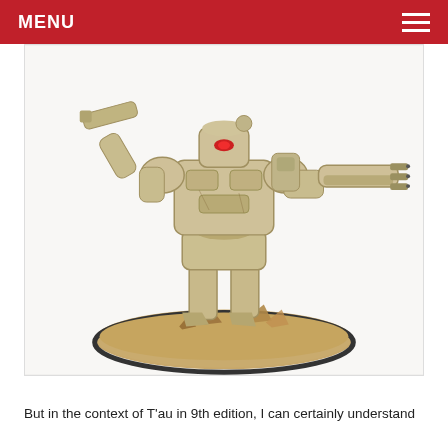MENU
[Figure (photo): A painted Tau T'au Battlesuit miniature (wargaming figurine) in desert tan/khaki colors, standing on a textured sandy base with rocky debris. The mech has weapons on both arms and an eye visor with a red lens. White background studio photo.]
But in the context of T'au in 9th edition, I can certainly understand